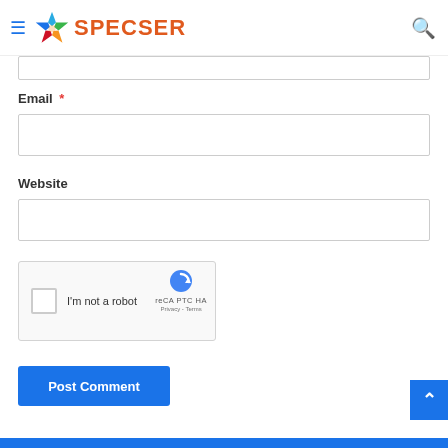SPECSER
Email *
[Figure (screenshot): Email text input field (empty)]
Website
[Figure (screenshot): Website text input field (empty)]
[Figure (screenshot): reCAPTCHA widget with checkbox labeled 'I'm not a robot', reCAPTCHA logo and Privacy/Terms links]
[Figure (screenshot): Post Comment button (blue)]
[Figure (screenshot): Back to top arrow button (blue, bottom right)]